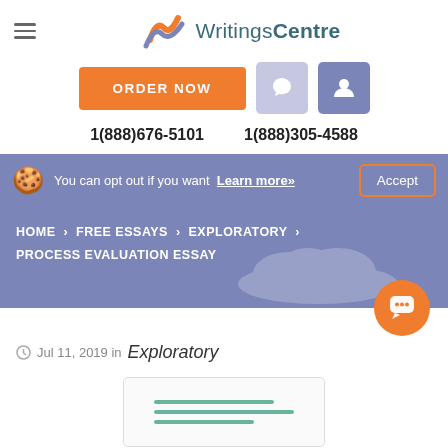[Figure (logo): WritingsCentre logo with orange and purple wave icon and teal/dark text]
ORDER NOW
1(888)676-5101    1(888)305-4588
You can opt out if you want  Learn more»  Accept
HOME > FREE ESSAYS > EXPLORATORY > PROCESS EVALUATION ESSAY
Jul 11, 2019 in Exploratory